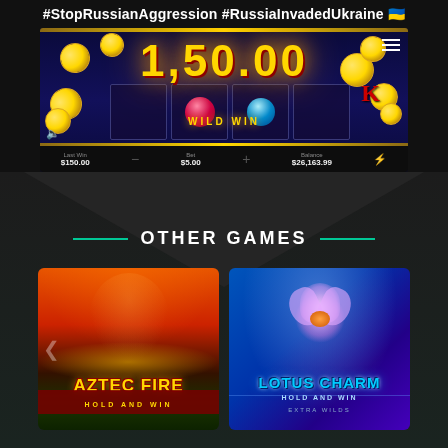#StopRussianAggression #RussiaInvadedUkraine 🇺🇦
[Figure (screenshot): Casino slot machine game screenshot showing a wild win of $150.00, with Last Win $150.00, Bet $5.00, Balance $26,163.99. Gold coins scattered around reels. 'WILD WIN' text visible on screen.]
OTHER GAMES
[Figure (screenshot): Aztec Fire Hold and Win slot game thumbnail showing an Aztec warrior character with golden headdress, fiery background, gold coins, with title 'AZTEC FIRE' and subtitle 'HOLD AND WIN']
[Figure (screenshot): Lotus Charm Hold and Win Extra Wilds slot game thumbnail showing a pink lotus flower on blue background with title 'LOTUS CHARM', subtitle 'HOLD AND WIN' and 'EXTRA WILDS']